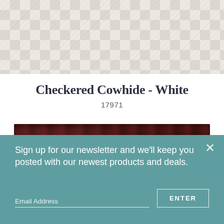[Figure (photo): Checkered cowhide texture in white/grey tones]
Checkered Cowhide - White
17971
[Figure (photo): Dark brown/burgundy crocodile leather texture]
Sign up for our newsletter and we'll keep you posted with our newest products and deals.
Email Address
ENTER
FOLLOW US
[Figure (illustration): Social media icons: Facebook, Instagram, Pinterest]